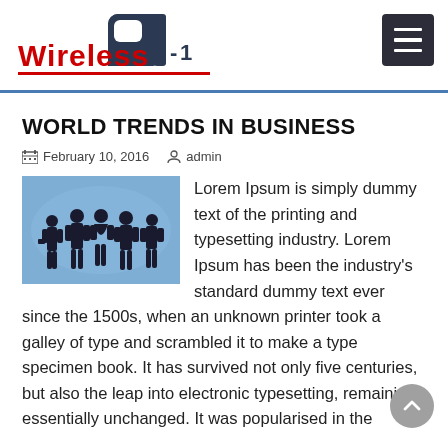Wireless A-1
WORLD TRENDS IN BUSINESS
February 10, 2016   admin
[Figure (photo): Silhouettes of business people standing in front of a world map background]
Lorem Ipsum is simply dummy text of the printing and typesetting industry. Lorem Ipsum has been the industry's standard dummy text ever since the 1500s, when an unknown printer took a galley of type and scrambled it to make a type specimen book. It has survived not only five centuries, but also the leap into electronic typesetting, remaining essentially unchanged. It was popularised in the